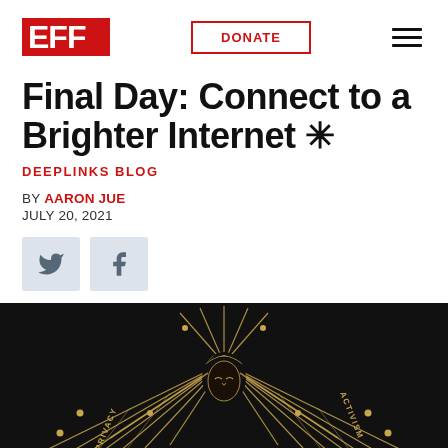EFF | DONATE
Final Day: Connect to a Brighter Internet ✳
DEEPLINKS BLOG
BY AARON JUE
JULY 20, 2021
[Figure (illustration): EFF hero illustration on black background: a stylized figure with golden circuit board wings, radiating lines, and text reading PRIVACY, ACTIVISM]
[Figure (logo): EFF logo in red block letters]